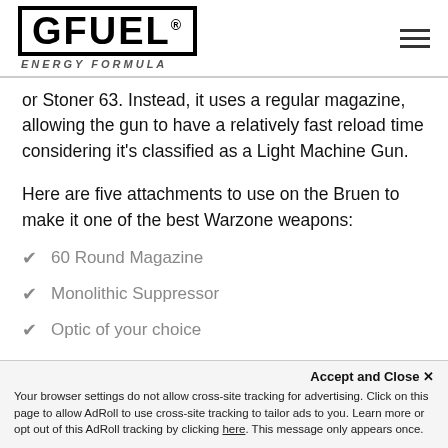G FUEL ENERGY FORMULA
or Stoner 63. Instead, it uses a regular magazine, allowing the gun to have a relatively fast reload time considering it's classified as a Light Machine Gun.
Here are five attachments to use on the Bruen to make it one of the best Warzone weapons:
60 Round Magazine
Monolithic Suppressor
Optic of your choice
Summit Barrel
Accept and Close ✕
Your browser settings do not allow cross-site tracking for advertising. Click on this page to allow AdRoll to use cross-site tracking to tailor ads to you. Learn more or opt out of this AdRoll tracking by clicking here. This message only appears once.